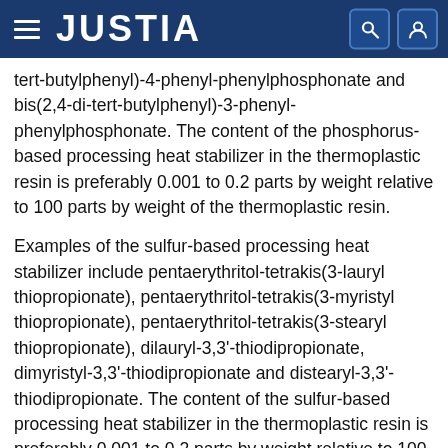JUSTIA
tert-butylphenyl)-4-phenyl-phenylphosphonate and bis(2,4-di-tert-butylphenyl)-3-phenyl-phenylphosphonate. The content of the phosphorus-based processing heat stabilizer in the thermoplastic resin is preferably 0.001 to 0.2 parts by weight relative to 100 parts by weight of the thermoplastic resin.
Examples of the sulfur-based processing heat stabilizer include pentaerythritol-tetrakis(3-lauryl thiopropionate), pentaerythritol-tetrakis(3-myristyl thiopropionate), pentaerythritol-tetrakis(3-stearyl thiopropionate), dilauryl-3,3'-thiodipropionate, dimyristyl-3,3'-thiodipropionate and distearyl-3,3'-thiodipropionate. The content of the sulfur-based processing heat stabilizer in the thermoplastic resin is preferably 0.001 to 0.2 parts by weight relative to 100 parts by weight of the thermoplastic resin.